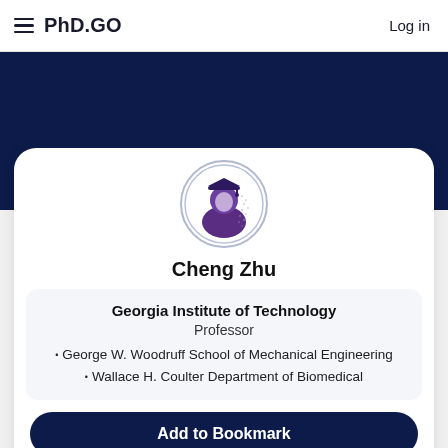PhD.GO  Log in
[Figure (logo): PhD.GO website screenshot showing professor profile page with dark blue banner and white card]
Cheng Zhu
Georgia Institute of Technology
Professor
• George W. Woodruff School of Mechanical Engineering
• Wallace H. Coulter Department of Biomedical
Add to Bookmark
Email  Website